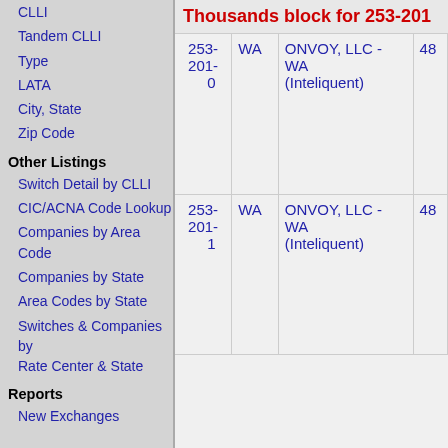CLLI
Tandem CLLI
Type
LATA
City, State
Zip Code
Other Listings
Switch Detail by CLLI
CIC/ACNA Code Lookup
Companies by Area Code
Companies by State
Area Codes by State
Switches & Companies by Rate Center & State
Reports
New Exchanges
Thousands block for 253-201
| Number | State | Company |  |
| --- | --- | --- | --- |
| 253-201-0 | WA | ONVOY, LLC - WA (Inteliquent) | 48 |
| 253-201-1 | WA | ONVOY, LLC - WA (Inteliquent) | 48 |